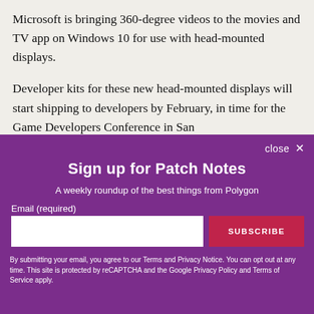Microsoft is bringing 360-degree videos to the movies and TV app on Windows 10 for use with head-mounted displays.
Developer kits for these new head-mounted displays will start shipping to developers by February, in time for the Game Developers Conference in San
close ×
Sign up for Patch Notes
A weekly roundup of the best things from Polygon
Email (required)
SUBSCRIBE
By submitting your email, you agree to our Terms and Privacy Notice. You can opt out at any time. This site is protected by reCAPTCHA and the Google Privacy Policy and Terms of Service apply.